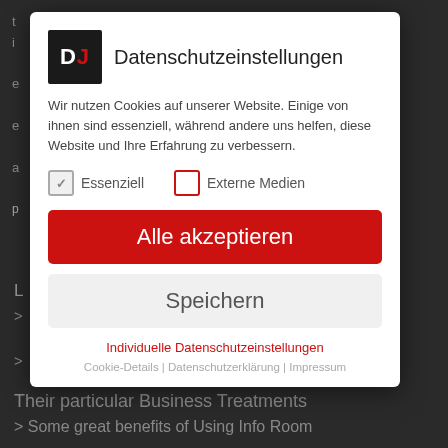[Figure (screenshot): Cookie consent modal dialog on a dark website background. The modal has a DJ logo (black box with white D and red J), title 'Datenschutzeinstellungen', body text about cookies, two checkboxes (Essenziell checked, Externe Medien unchecked), an 'Alle akzeptieren' red button, a 'Speichern' gray button, and links for individual privacy settings. Background shows dark website content in German/English.]
Datenschutzeinstellungen
Wir nutzen Cookies auf unserer Website. Einige von ihnen sind essenziell, während andere uns helfen, diese Website und Ihre Erfahrung zu verbessern.
Essenziell
Externe Medien
Alle akzeptieren
Speichern
Individuelle Datenschutzeinstellungen
Cookie-Details | Datenschutzerklärung | Impressum
Their particular Business Treatments
> Some great benefits of Using Info Room